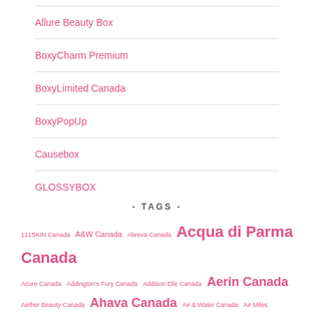Allure Beauty Box
BoxyCharm Premium
BoxyLimited Canada
BoxyPopUp
Causebox
GLOSSYBOX
- TAGS -
111SKIN Canada A&W Canada Abreva Canada Acqua di Parma Canada Acure Canada Addington's Fury Canada Addition Elle Canada Aerin Canada Aether Beauty Canada Ahava Canada Air & Water Canada Air Miles Canada